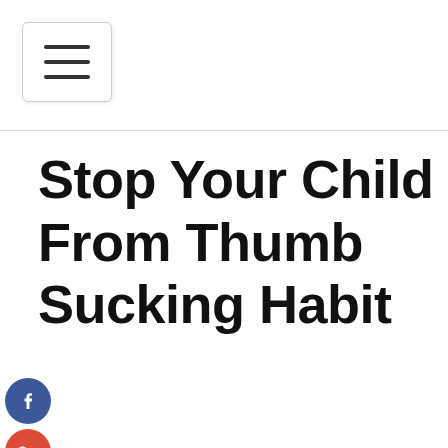[Figure (other): Hamburger menu button icon with three horizontal lines]
Stop Your Child From Thumb Sucking Habit
[Figure (other): Social sharing icons: Facebook (blue circle with f), Google+ (red circle with g+), Twitter (blue circle with bird), Plus (dark blue circle with +)]
Business and Management
Stop Your Child